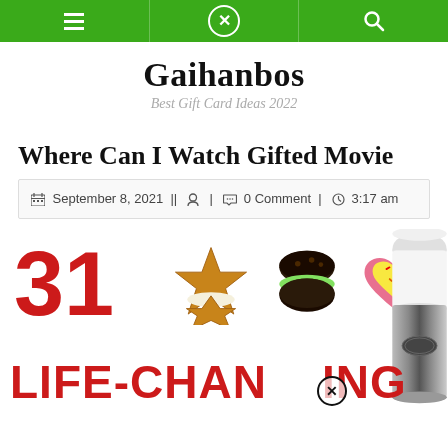Navigation bar with menu, close, and search icons
Gaihanbos
Best Gift Card Ideas 2022
Where Can I Watch Gifted Movie
September 8, 2021 || [user icon] | [comment icon] 0 Comment | [clock icon] 3:17 am
[Figure (photo): Promotional image showing '31 LIFE-CHANGING' text in red with photos of decorated cookies (star-shaped, round cake, heart-shaped) and a white/silver blender or food processor bottle on the right side.]